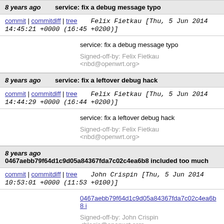8 years ago   service: fix a debug message typo
commit | commitdiff | tree   Felix Fietkau [Thu, 5 Jun 2014 14:45:21 +0000 (16:45 +0200)]
service: fix a debug message typo

Signed-off-by: Felix Fietkau <nbd@openwrt.org>
8 years ago   service: fix a leftover debug hack
commit | commitdiff | tree   Felix Fietkau [Thu, 5 Jun 2014 14:44:29 +0000 (16:44 +0200)]
service: fix a leftover debug hack

Signed-off-by: Felix Fietkau <nbd@openwrt.org>
8 years ago   0467aebb79f64d1c9d05a84367fda7c02c4ea6b8 included too much
commit | commitdiff | tree   John Crispin [Thu, 5 Jun 2014 10:53:01 +0000 (11:53 +0100)]
0467aebb79f64d1c9d05a84367fda7c02c4ea6b8 i

Signed-off-by: John Crispin <blogic@openwrt.org>